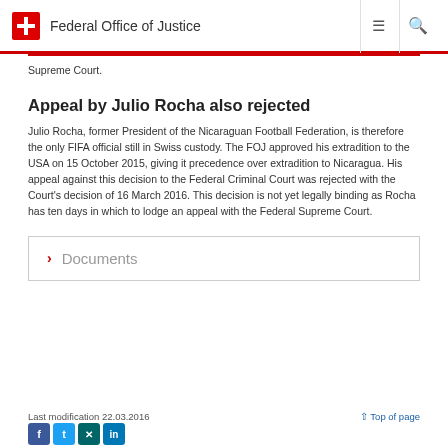Federal Office of Justice
Supreme Court.
Appeal by Julio Rocha also rejected
Julio Rocha, former President of the Nicaraguan Football Federation, is therefore the only FIFA official still in Swiss custody. The FOJ approved his extradition to the USA on 15 October 2015, giving it precedence over extradition to Nicaragua. His appeal against this decision to the Federal Criminal Court was rejected with the Court's decision of 16 March 2016. This decision is not yet legally binding as Rocha has ten days in which to lodge an appeal with the Federal Supreme Court.
› Documents
Last modification 22.03.2016   ↑ Top of page